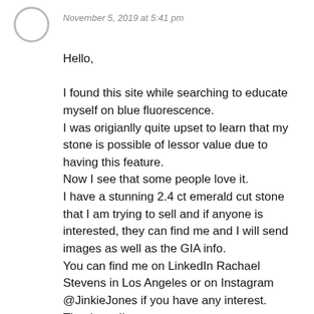[Figure (illustration): Circular avatar placeholder icon, grey outline ring]
November 5, 2019 at 5:41 pm
Hello,

I found this site while searching to educate myself on blue fluorescence.
I was origianlly quite upset to learn that my stone is possible of lessor value due to having this feature.
Now I see that some people love it.
I have a stunning 2.4 ct emerald cut stone that I am trying to sell and if anyone is interested, they can find me and I will send images as well as the GIA info.
You can find me on LinkedIn Rachael Stevens in Los Angeles or on Instagram @JinkieJones if you have any interest.
Thank you!!